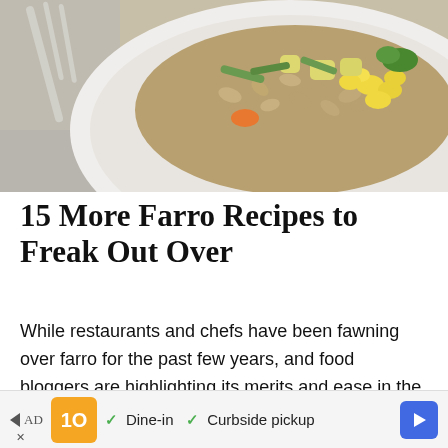[Figure (photo): Close-up photo of a white bowl containing farro grain salad with mixed vegetables including corn, green beans, carrots, and herbs, with a fork visible in the upper left corner]
15 More Farro Recipes to Freak Out Over
While restaurants and chefs have been fawning over farro for the past few years, and food bloggers are highlighting its merits and ease in the kitchen with feast-worthy recipes, too. Here are 15 more farro recipes to love forever.
[Figure (other): Advertisement bar at the bottom with restaurant logo, checkmarks for Dine-in and Curbside pickup options, and a navigation arrow icon]